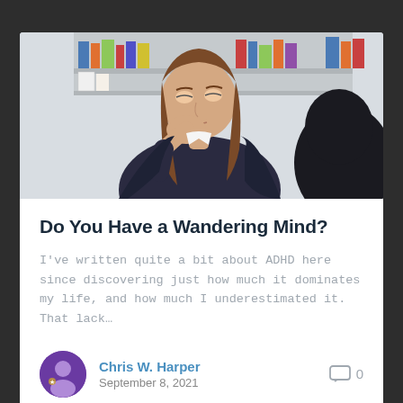[Figure (photo): A young woman with long brown hair resting her chin on her hand, looking bored or distracted, sitting in what appears to be a classroom or office setting with bookshelves in the background. Another person with dark hair is partially visible in the foreground.]
Do You Have a Wandering Mind?
I've written quite a bit about ADHD here since discovering just how much it dominates my life, and how much I underestimated it. That lack…
Chris W. Harper
September 8, 2021
0